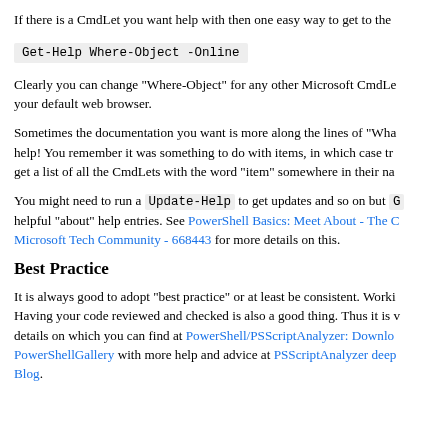If there is a CmdLet you want help with then one easy way to get to the
Get-Help Where-Object -Online
Clearly you can change "Where-Object" for any other Microsoft CmdLet. This will open your default web browser.
Sometimes the documentation you want is more along the lines of "Wha... help! You remember it was something to do with items, in which case try get a list of all the CmdLets with the word "item" somewhere in their na
You might need to run a Update-Help to get updates and so on but G helpful "about" help entries. See PowerShell Basics: Meet About - The C Microsoft Tech Community - 668443 for more details on this.
Best Practice
It is always good to adopt "best practice" or at least be consistent. Worki Having your code reviewed and checked is also a good thing. Thus it is details on which you can find at PowerShell/PSScriptAnalyzer: Downlo PowerShellGallery with more help and advice at PSScriptAnalyzer deep Blog.